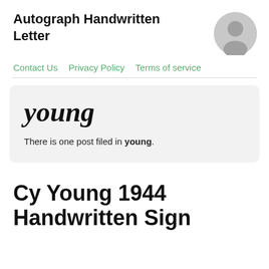Autograph Handwritten Letter
[Figure (illustration): Grey circular avatar/user icon placeholder]
Contact Us   Privacy Policy   Terms of service
young
There is one post filed in young.
Cy Young 1944 Handwritten Signed...